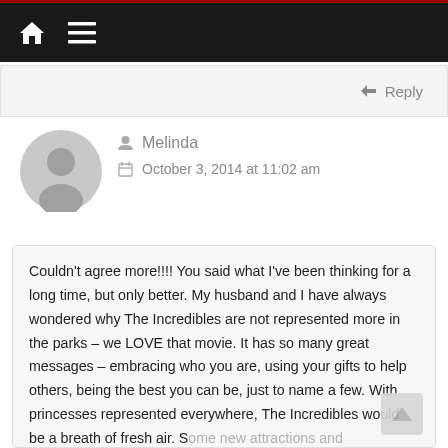Navigation bar with home icon and menu icon
↩ Reply
Melinda
October 3, 2014 at 11:02 am
Couldn't agree more!!!! You said what I've been thinking for a long time, but only better. My husband and I have always wondered why The Incredibles are not represented more in the parks – we LOVE that movie. It has so many great messages – embracing who you are, using your gifts to help others, being the best you can be, just to name a few. With princesses represented everywhere, The Incredibles would be a breath of fresh air. Some new attractions and experiences would give everyone, especially little boys, something new to look forward to, and it would not be prunes-themed